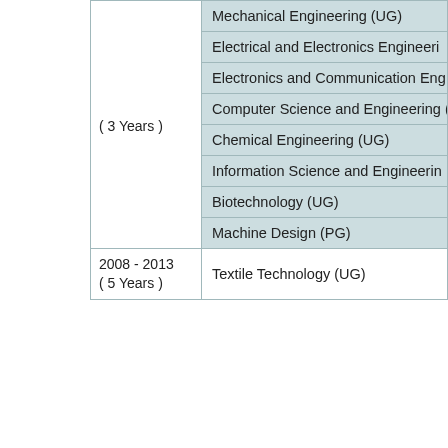| Period | Program |
| --- | --- |
| ( 3 Years ) | Mechanical Engineering (UG) |
|  | Electrical and Electronics Engineeri… |
|  | Electronics and Communication Eng… |
|  | Computer Science and Engineering (… |
|  | Chemical Engineering (UG) |
|  | Information Science and Engineerin… |
|  | Biotechnology (UG) |
|  | Machine Design (PG) |
| 2008 - 2013
( 5 Years ) | Textile Technology (UG) |